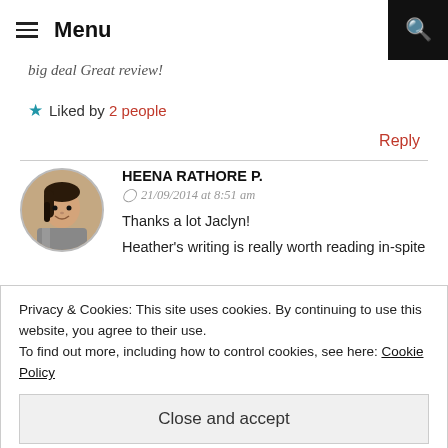Menu
big deal Great review!
★ Liked by 2 people
Reply
HEENA RATHORE P.
21/09/2014 at 8:51 am
Thanks a lot Jaclyn!
Heather's writing is really worth reading in-spite
Privacy & Cookies: This site uses cookies. By continuing to use this website, you agree to their use.
To find out more, including how to control cookies, see here: Cookie Policy
Close and accept